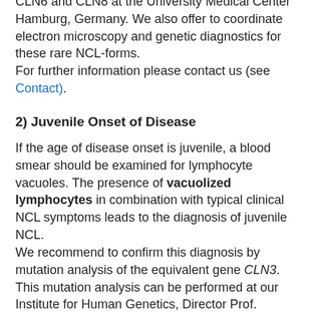CLN6 and CLN8 at the University Medical Center Hamburg, Germany. We also offer to coordinate electron microscopy and genetic diagnostics for these rare NCL-forms. For further information please contact us (see Contact).
2) Juvenile Onset of Disease
If the age of disease onset is juvenile, a blood smear should be examined for lymphocyte vacuoles. The presence of vacuolized lymphocytes in combination with typical clinical NCL symptoms leads to the diagnosis of juvenile NCL. We recommend to confirm this diagnosis by mutation analysis of the equivalent gene CLN3. This mutation analysis can be performed at our Institute for Human Genetics, Director Prof. Andreas Gal (see Contact). Once the diagnosis has been confirmed the Institute for Human Genetics offers genetic counseling for patients and families.